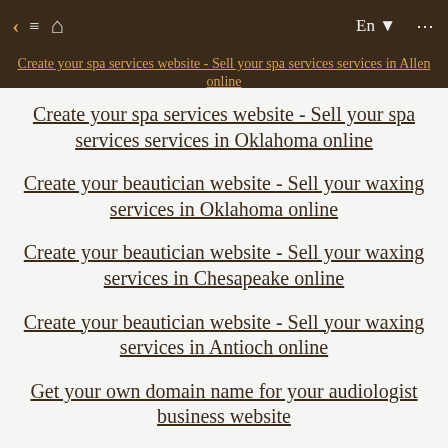Create your spa services website - Sell your spa services services in Allen online
Create your spa services website - Sell your spa services services in Oklahoma online
Create your beautician website - Sell your waxing services in Oklahoma online
Create your beautician website - Sell your waxing services in Chesapeake online
Create your beautician website - Sell your waxing services in Antioch online
Get your own domain name for your audiologist business website